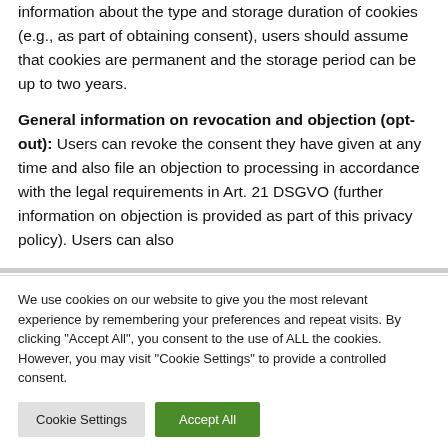information about the type and storage duration of cookies (e.g., as part of obtaining consent), users should assume that cookies are permanent and the storage period can be up to two years.
General information on revocation and objection (opt-out): Users can revoke the consent they have given at any time and also file an objection to processing in accordance with the legal requirements in Art. 21 DSGVO (further information on objection is provided as part of this privacy policy). Users can also
We use cookies on our website to give you the most relevant experience by remembering your preferences and repeat visits. By clicking "Accept All", you consent to the use of ALL the cookies. However, you may visit "Cookie Settings" to provide a controlled consent.